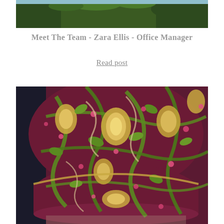[Figure (photo): Aerial or hillside view of coastal landscape with green trees and sandy beach/ocean in the background]
Meet The Team - Zara Ellis - Office Manager
Read post
[Figure (photo): Close-up photograph of a wingback armchair upholstered in William Morris-style floral fabric with burgundy, green, gold, and pink botanical pattern]